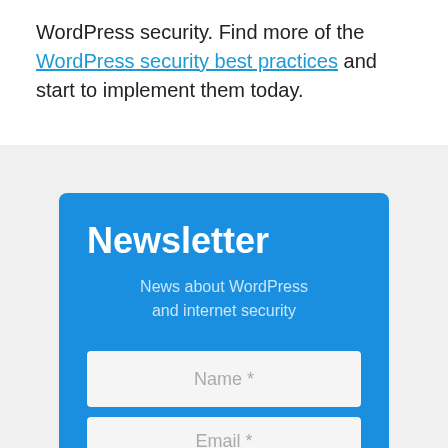WordPress security. Find more of the WordPress security best practices and start to implement them today.
Newsletter
News about WordPress and internet security
Name *
Email *